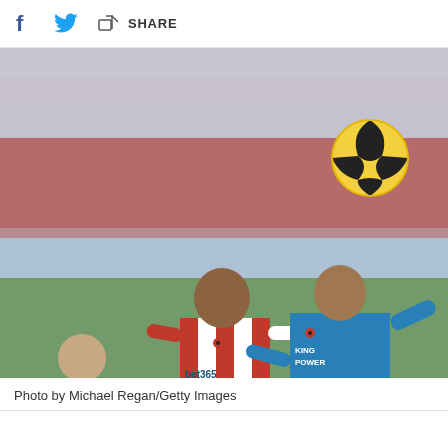f  [twitter]  [share]  SHARE
[Figure (photo): Premier League football match photo: A Stoke City player in red and white stripes (bet365 kit) challenges for a header against a Leicester City player in blue (KING POWER kit), with a yellow and black football above them. A third Leicester player in blue is visible in the background. The match is played at a stadium with red seats.]
Photo by Michael Regan/Getty Images